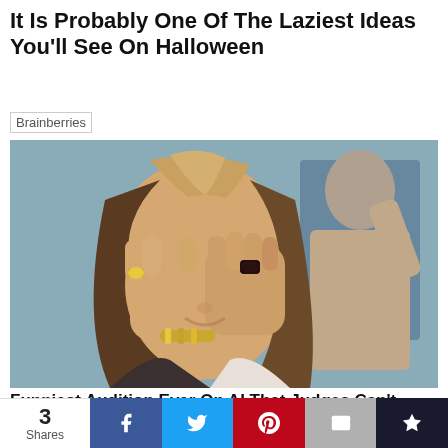It Is Probably One Of The Laziest Ideas You'll See On Halloween
Brainberries
[Figure (photo): Woman with brown highlighted hair covering her face with both hands, wearing rings and a bracelet, appearing to facepalm or laugh, with a blurred background.]
Funniest Audition Ever On AI That Judges Can't Stop Laughing
3
Shares